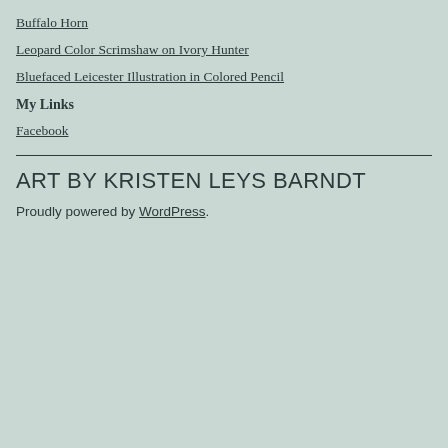Buffalo Horn
Leopard Color Scrimshaw on Ivory Hunter
Bluefaced Leicester Illustration in Colored Pencil
My Links
Facebook
ART BY KRISTEN LEYS BARNDT
Proudly powered by WordPress.